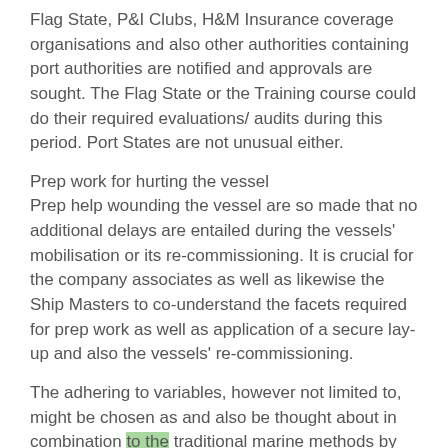Flag State, P&I Clubs, H&M Insurance coverage organisations and also other authorities containing port authorities are notified and approvals are sought. The Flag State or the Training course could do their required evaluations/ audits during this period. Port States are not unusual either.
Prep work for hurting the vessel
Prep help wounding the vessel are so made that no additional delays are entailed during the vessels' mobilisation or its re-commissioning. It is crucial for the company associates as well as likewise the Ship Masters to co-understand the facets required for prep work as well as application of a secure lay-up and also the vessels' re-commissioning.
The adhering to variables, however not limited to, might be chosen as and also be thought about in combination to the traditional marine methods by the individuals included